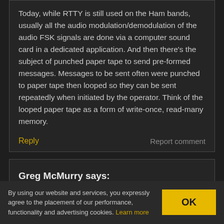Today, while RTTY is still used on the Ham bands, usually all the audio modulation/demodulation of the audio FSK signals are done via a computer sound card in a dedicated application. And then there's the subject of punched paper tape to send pre-formed messages. Messages to be sent often were punched to paper tape then looped so they can be sent repeatedly when initiated by the operator. Think of the looped paper tape as a form of write-once, read-many memory.
Reply
Report comment
Greg McMurry says:
November 3, 2018 at 5:00 pm
By using our website and services, you expressly agree to the placement of our performance, functionality and advertising cookies. Learn more